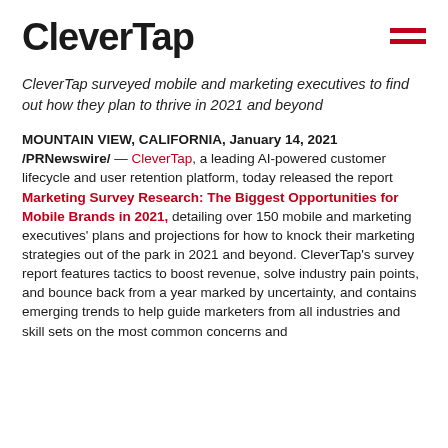CleverTap
CleverTap surveyed mobile and marketing executives to find out how they plan to thrive in 2021 and beyond
MOUNTAIN VIEW, CALIFORNIA, January 14, 2021 /PRNewswire/ — CleverTap, a leading AI-powered customer lifecycle and user retention platform, today released the report Marketing Survey Research: The Biggest Opportunities for Mobile Brands in 2021, detailing over 150 mobile and marketing executives' plans and projections for how to knock their marketing strategies out of the park in 2021 and beyond. CleverTap's survey report features tactics to boost revenue, solve industry pain points, and bounce back from a year marked by uncertainty, and contains emerging trends to help guide marketers from all industries and skill sets on the most common concerns and